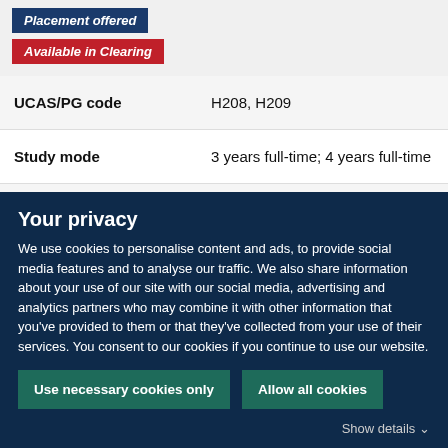Placement offered
Available in Clearing
| Field | Value |
| --- | --- |
| UCAS/PG code | H208, H209 |
| Study mode | 3 years full-time; 4 years full-time |
| Level | Undergraduate |
Civil Engineering MEng
Your privacy
We use cookies to personalise content and ads, to provide social media features and to analyse our traffic. We also share information about your use of our site with our social media, advertising and analytics partners who may combine it with other information that you've provided to them or that they've collected from your use of their services. You consent to our cookies if you continue to use our website.
Use necessary cookies only
Allow all cookies
Show details